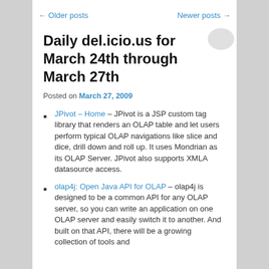← Older posts     Newer posts →
Daily del.icio.us for March 24th through March 27th
Posted on March 27, 2009
JPivot – Home – JPivot is a JSP custom tag library that renders an OLAP table and let users perform typical OLAP navigations like slice and dice, drill down and roll up. It uses Mondrian as its OLAP Server. JPivot also supports XMLA datasource access.
olap4j: Open Java API for OLAP – olap4j is designed to be a common API for any OLAP server, so you can write an application on one OLAP server and easily switch it to another. And built on that API, there will be a growing collection of tools and